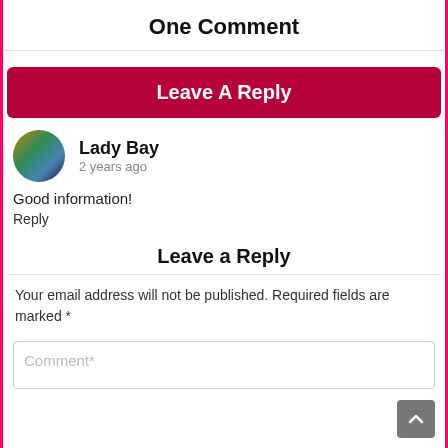One Comment
Leave A Reply
Lady Bay
2 years ago
Good information!
Reply
Leave a Reply
Your email address will not be published. Required fields are marked *
Comment*